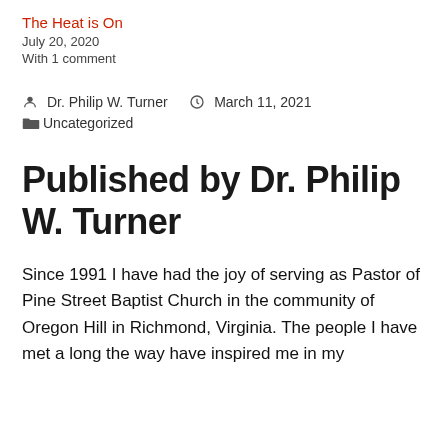The Heat is On
July 20, 2020
With 1 comment
Dr. Philip W. Turner   March 11, 2021
Uncategorized
Published by Dr. Philip W. Turner
Since 1991 I have had the joy of serving as Pastor of Pine Street Baptist Church in the community of Oregon Hill in Richmond, Virginia. The people I have met a long the way have inspired me in my